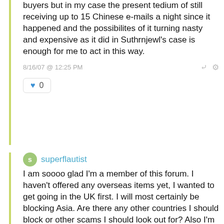buyers but in my case the present tedium of still receiving up to 15 Chinese e-mails a night since it happened and the possibilites of it turning nasty and expensive as it did in Suthrnjewl's case is enough for me to act in this way.
8/16/07 @ 12:25 PM
♥ 0
superflautist
I am soooo glad I'm a member of this forum. I haven't offered any overseas items yet, I wanted to get going in the UK first. I will most certainly be blocking Asia. Are there any other countries I should block or other scams I should look out for? Also I'm assuming it's best to specify Paypal only from abroad to stop cheque fraud.